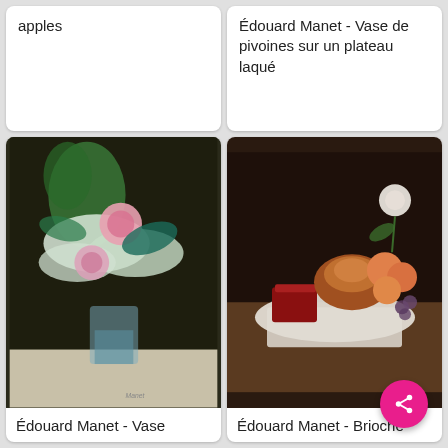apples
Édouard Manet - Vase de pivoines sur un plateau laqué
[Figure (photo): Painting of flowers in a glass vase with pink roses and white lilacs against a dark background — Édouard Manet]
Édouard Manet - Vase
[Figure (photo): Painting of a still life with a brioche, peaches, grapes, a rose, and a red lacquered box on a table with white cloth — Édouard Manet]
Édouard Manet - Brioche